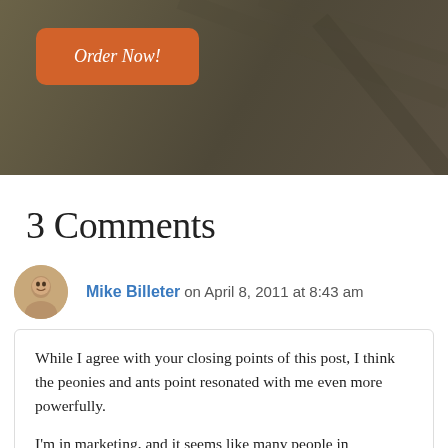[Figure (other): Dark olive/brown hero banner with an orange rounded 'Order Now!' button in the upper left]
3 Comments
Mike Billeter on April 8, 2011 at 8:43 am
While I agree with your closing points of this post, I think the peonies and ants point resonated with me even more powerfully.

I'm in marketing, and it seems like many people in